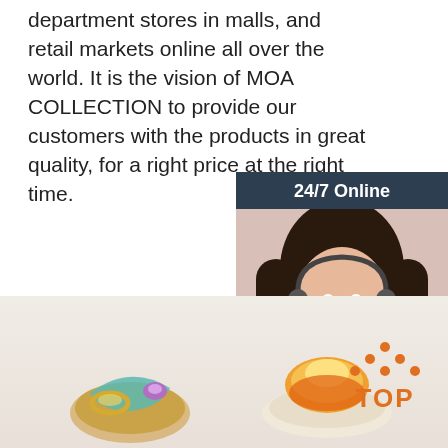department stores in malls, and retail markets online all over the world. It is the vision of MOA COLLECTION to provide our customers with the products in great quality, for a right price at the right time.
[Figure (illustration): Customer service agent photo with 24/7 Online header, Click here for free chat text, and QUOTATION orange button on dark navy background]
[Figure (other): Get Price orange button]
[Figure (photo): Bottom strip showing jewelry items on a light beige background with an orange TOP button in the bottom right]
[Figure (other): Orange TOP button with dots above]